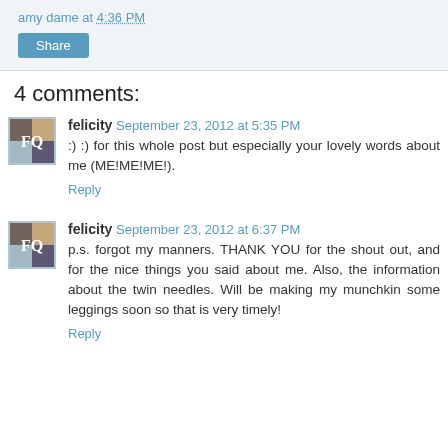amy dame at 4:36 PM
Share
4 comments:
felicity September 23, 2012 at 5:35 PM
:)  :)  for this whole post but especially your lovely words about me (ME!ME!ME!).
Reply
felicity September 23, 2012 at 6:37 PM
p.s. forgot my manners. THANK YOU for the shout out, and for the nice things you said about me. Also, the information about the twin needles. Will be making my munchkin some leggings soon so that is very timely!
Reply